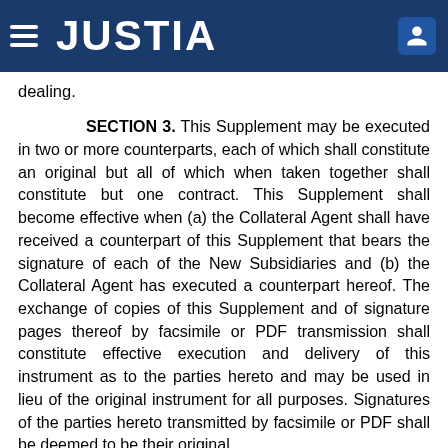JUSTIA
dealing.
SECTION 3. This Supplement may be executed in two or more counterparts, each of which shall constitute an original but all of which when taken together shall constitute but one contract. This Supplement shall become effective when (a) the Collateral Agent shall have received a counterpart of this Supplement that bears the signature of each of the New Subsidiaries and (b) the Collateral Agent has executed a counterpart hereof. The exchange of copies of this Supplement and of signature pages thereof by facsimile or PDF transmission shall constitute effective execution and delivery of this instrument as to the parties hereto and may be used in lieu of the original instrument for all purposes. Signatures of the parties hereto transmitted by facsimile or PDF shall be deemed to be their original